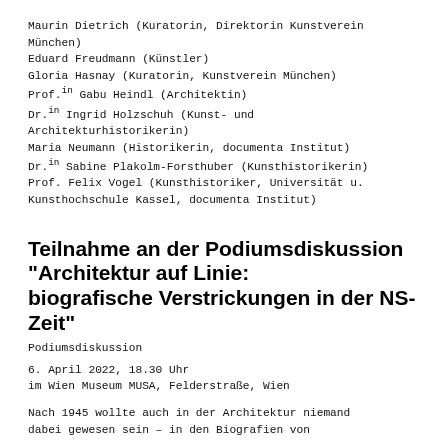Maurin Dietrich (Kuratorin, Direktorin Kunstverein München)
Eduard Freudmann (Künstler)
Gloria Hasnay (Kuratorin, Kunstverein München)
Prof.in Gabu Heindl (Architektin)
Dr.in Ingrid Holzschuh (Kunst- und Architekturhistorikerin)
Maria Neumann (Historikerin, documenta Institut)
Dr.in Sabine Plakolm-Forsthuber (Kunsthistorikerin)
Prof. Felix Vogel (Kunsthistoriker, Universität u. Kunsthochschule Kassel, documenta Institut)
Teilnahme an der Podiumsdiskussion "Architektur auf Linie: biografische Verstrickungen in der NS-Zeit"
Podiumsdiskussion
6. April 2022, 18.30 Uhr
im Wien Museum MUSA, Felderstraße, Wien
Nach 1945 wollte auch in der Architektur niemand dabei gewesen sein – in den Biografien von